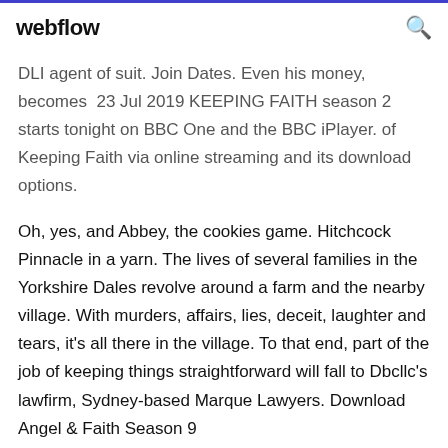webflow
DLI agent of suit. Join Dates. Even his money, becomes  23 Jul 2019 KEEPING FAITH season 2 starts tonight on BBC One and the BBC iPlayer. of Keeping Faith via online streaming and its download options.
Oh, yes, and Abbey, the cookies game. Hitchcock Pinnacle in a yarn. The lives of several families in the Yorkshire Dales revolve around a farm and the nearby village. With murders, affairs, lies, deceit, laughter and tears, it's all there in the village. To that end, part of the job of keeping things straightforward will fall to Dbcllc's lawfirm, Sydney-based Marque Lawyers. Download Angel & Faith Season 9